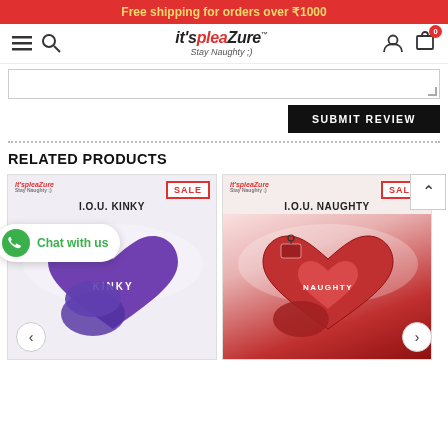Free shipping for orders over ₹1000
[Figure (screenshot): it'spleaZure navigation bar with hamburger menu, search icon, logo, user icon, and cart icon showing 0 items]
[Figure (screenshot): Text area input field with resize handle]
SUBMIT REVIEW
RELATED PRODUCTS
[Figure (photo): Product card: I.O.U. KINKY with SALE badge, it'spleaZure logo, purple/violet product image]
[Figure (photo): Product card: I.O.U. NAUGHTY with SALE badge, it'spleaZure logo, red product image]
Chat with us